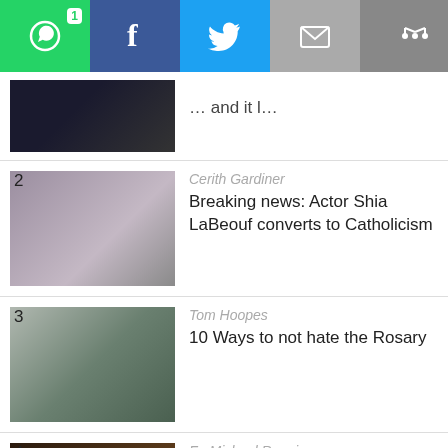[Figure (screenshot): Social share bar with WhatsApp (badge 1), Facebook, Twitter, email, and more/share icons on grey background]
… and it l…
Cerith Gardiner
Breaking news: Actor Shia LaBeouf converts to Catholicism
Tom Hoopes
10 Ways to not hate the Rosary
Fr. Michael Rennier
When I couldn't focus anymore, this is how I fixed it
Cara Busson-Clark
Here's the daily meal plan of a busy nutritionist mom